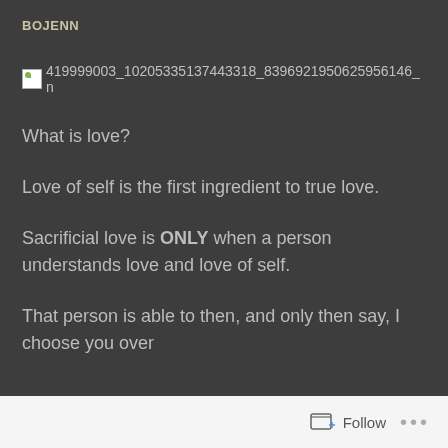BOJENN
[Figure (other): Broken image placeholder with filename: 419999003_10205335137443318_839692195062595​6146_n]
What is love?
Love of self is the first ingredient to true love.
Sacrificial love is ONLY when a person understands love and love of self.
That person is able to then, and only then say, I choose you over
Follow ...